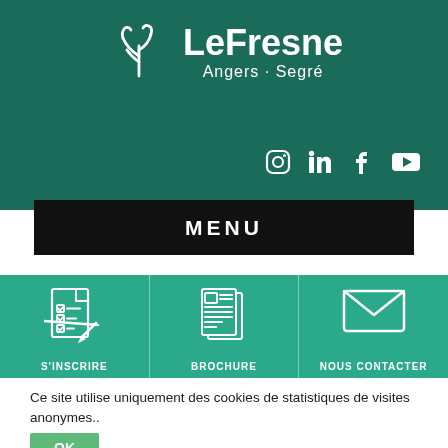[Figure (logo): LeFresne logo with stylized leaf/branch icon, text 'LeFresne' and subtitle 'Angers - Segré' on dark teal background]
[Figure (infographic): Social media icons: Instagram, LinkedIn, Facebook, YouTube in white on teal background]
MENU
[Figure (infographic): Three teal action buttons: S'INSCRIRE (checklist icon), BROCHURE (document icon), NOUS CONTACTER (envelope icon)]
Ce site utilise uniquement des cookies de statistiques de visites anonymes..
OK